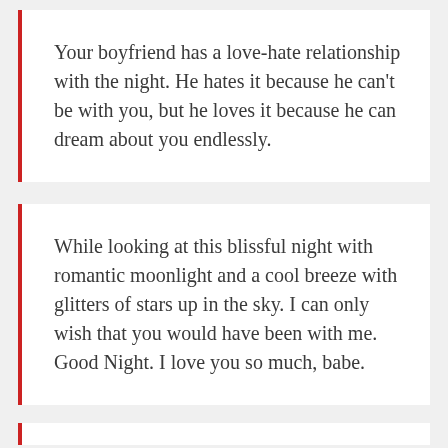Your boyfriend has a love-hate relationship with the night. He hates it because he can't be with you, but he loves it because he can dream about you endlessly.
While looking at this blissful night with romantic moonlight and a cool breeze with glitters of stars up in the sky. I can only wish that you would have been with me. Good Night. I love you so much, babe.